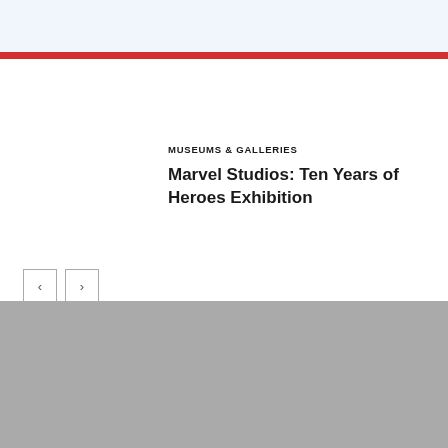MUSEUMS & GALLERIES
Marvel Studios: Ten Years of Heroes Exhibition
[Figure (photo): Gray placeholder image area for exhibition photo]
[Figure (other): Navigation buttons: left arrow and right arrow]